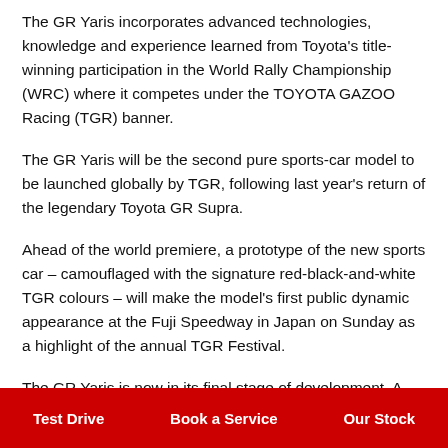The GR Yaris incorporates advanced technologies, knowledge and experience learned from Toyota's title-winning participation in the World Rally Championship (WRC) where it competes under the TOYOTA GAZOO Racing (TGR) banner.
The GR Yaris will be the second pure sports-car model to be launched globally by TGR, following last year's return of the legendary Toyota GR Supra.
Ahead of the world premiere, a prototype of the new sports car – camouflaged with the signature red-black-and-white TGR colours – will make the model's first public dynamic appearance at the Fuji Speedway in Japan on Sunday as a highlight of the annual TGR Festival.
The GR Yaris is now in its final stage of development. A prototype…
Test Drive | Book a Service | Our Stock